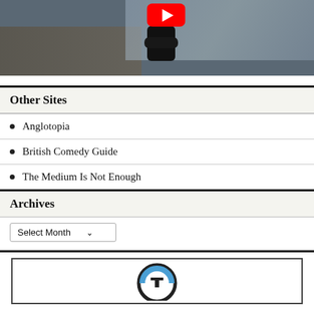[Figure (photo): Person standing on a dock by water with a YouTube logo overlay at the top]
Other Sites
Anglotopia
British Comedy Guide
The Medium Is Not Enough
Archives
Select Month
[Figure (logo): Telly logo (circular icon with T shape in blue and black)]